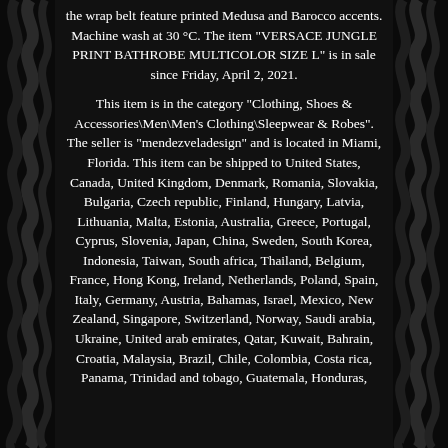the wrap belt feature printed Medusa and Barocco accents. Machine wash at 30 °C. The item "VERSACE JUNGLE PRINT BATHROBE MULTICOLOR SIZE L" is in sale since Friday, April 2, 2021.
This item is in the category "Clothing, Shoes & Accessories\Men\Men's Clothing\Sleepwear & Robes". The seller is "mendezveladesign" and is located in Miami, Florida. This item can be shipped to United States, Canada, United Kingdom, Denmark, Romania, Slovakia, Bulgaria, Czech republic, Finland, Hungary, Latvia, Lithuania, Malta, Estonia, Australia, Greece, Portugal, Cyprus, Slovenia, Japan, China, Sweden, South Korea, Indonesia, Taiwan, South africa, Thailand, Belgium, France, Hong Kong, Ireland, Netherlands, Poland, Spain, Italy, Germany, Austria, Bahamas, Israel, Mexico, New Zealand, Singapore, Switzerland, Norway, Saudi arabia, Ukraine, United arab emirates, Qatar, Kuwait, Bahrain, Croatia, Malaysia, Brazil, Chile, Colombia, Costa rica, Panama, Trinidad and tobago, Guatemala, Honduras,